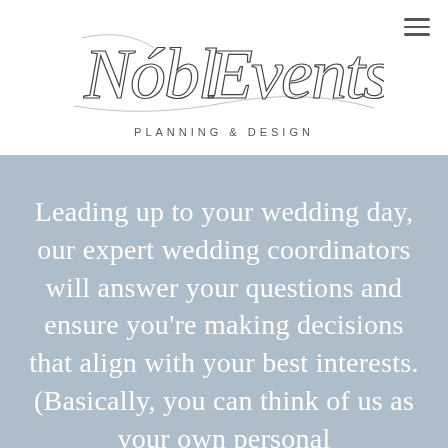[Figure (logo): Nóbl Events Planning & Design cursive script logo with hamburger menu icon in top right]
Leading up to your wedding day, our expert wedding coordinators will answer your questions and ensure you're making decisions that align with your best interests. (Basically, you can think of us as your own personal